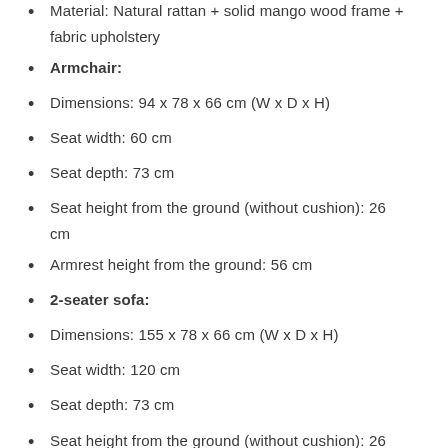Material: Natural rattan + solid mango wood frame + fabric upholstery
Armchair:
Dimensions: 94 x 78 x 66 cm (W x D x H)
Seat width: 60 cm
Seat depth: 73 cm
Seat height from the ground (without cushion): 26 cm
Armrest height from the ground: 56 cm
2-seater sofa:
Dimensions: 155 x 78 x 66 cm (W x D x H)
Seat width: 120 cm
Seat depth: 73 cm
Seat height from the ground (without cushion): 26 cm
Armrest height from the ground: 56 cm
3-seater sofa: